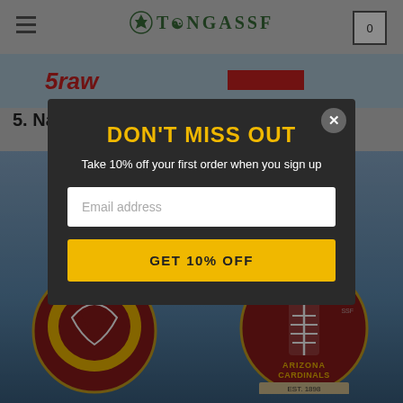[Figure (screenshot): Website header with hamburger menu, TONGASSF logo with tree icon, and shopping cart showing 0 items]
[Figure (screenshot): Banner strip with italic red cursive text and red button]
5. ...Na...
[Figure (photo): Arizona Cardinals ornaments on snowy pine background - left: helmet ornament, right: football ornament with 'ARIZONA CARDINALS EST. 1898']
[Figure (screenshot): Modal popup with dark background containing 'DON'T MISS OUT' heading, email signup form, and GET 10% OFF button]
DON'T MISS OUT
Take 10% off your first order when you sign up
Email address
GET 10% OFF